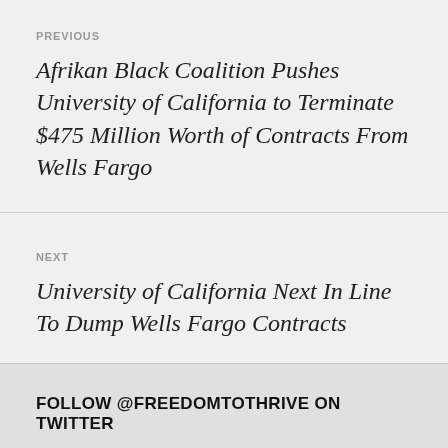PREVIOUS
Afrikan Black Coalition Pushes University of California to Terminate $475 Million Worth of Contracts From Wells Fargo
NEXT
University of California Next In Line To Dump Wells Fargo Contracts
FOLLOW @FREEDOMTOTHRIVE ON TWITTER